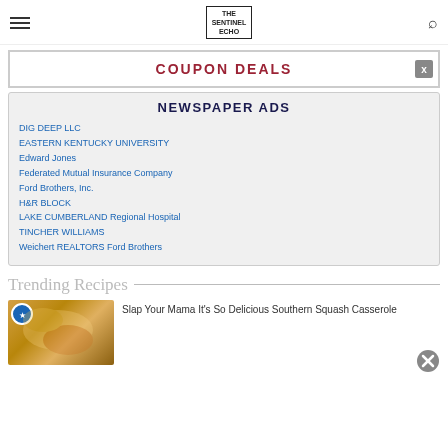SENTINEL ECHO
COUPON DEALS
NEWSPAPER ADS
DIG DEEP LLC
EASTERN KENTUCKY UNIVERSITY
Edward Jones
Federated Mutual Insurance Company
Ford Brothers, Inc.
H&R BLOCK
LAKE CUMBERLAND Regional Hospital
TINCHER WILLIAMS
Weichert REALTORS Ford Brothers
Trending Recipes
[Figure (photo): Photo of a Southern Squash Casserole dish with a blue ribbon badge overlay]
Slap Your Mama It's So Delicious Southern Squash Casserole